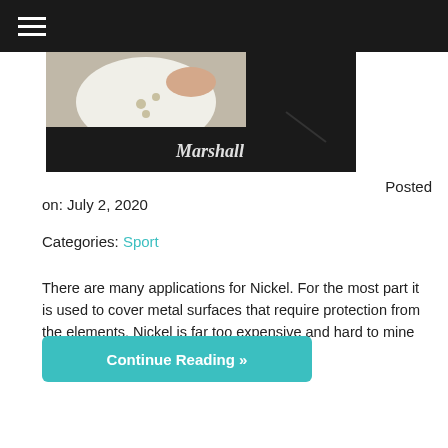[Figure (photo): A person playing a white electric guitar in front of a black Marshall amplifier]
Posted on: July 2, 2020
Categories: Sport
There are many applications for Nickel. For the most part it is used to cover metal surfaces that require protection from the elements. Nickel is far too expensive and hard to mine and plus it is very rare. We have...
Continue Reading »